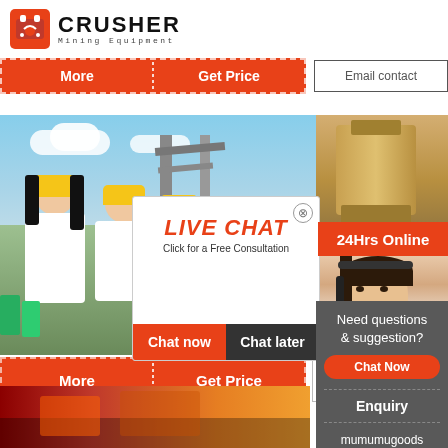[Figure (logo): Crusher Mining Equipment logo with red shopping bag/crusher icon and bold text]
More | Get Price | Email contact
[Figure (photo): Mining/industrial facility with workers in yellow hard hats]
[Figure (photo): Industrial yellow equipment/tank]
[Figure (infographic): Live Chat popup overlay with 24Hrs Online badge, LIVE CHAT heading, 'Click for a Free Consultation' text, Chat now and Chat later buttons, and customer service representative photo]
24Hrs Online
LIVE CHAT
Click for a Free Consultation
Chat now
Chat later
More | Get Price | Email conta…
Need questions & suggestion?
Chat Now
Enquiry
mumumugoods@gmail.com
[Figure (photo): Bottom row: left image red/orange industrial equipment, right image grey industrial structure]